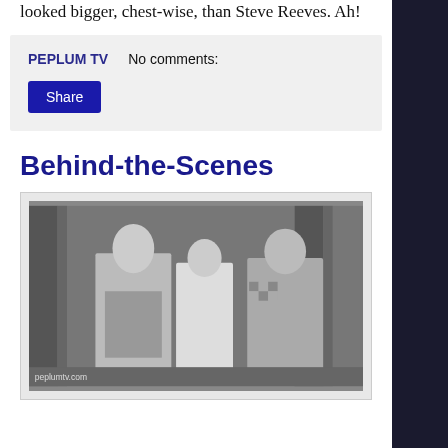looked bigger, chest-wise, than Steve Reeves. Ah!
PEPLUM TV    No comments:
Share
Behind-the-Scenes
[Figure (photo): Black and white behind-the-scenes photo showing three people standing together on a film set with curtains in the background. A man in costume on the left, a woman in the center, and a man in a checkered jacket on the right. Watermark reads peplumtv.com]